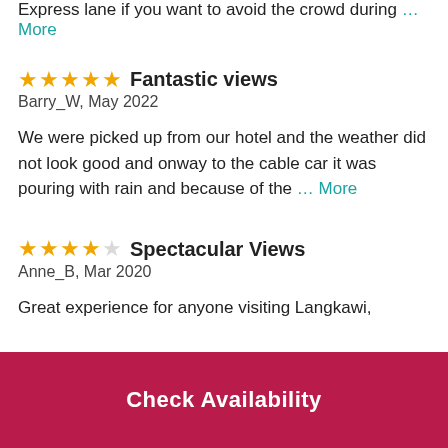Express lane if you want to avoid the crowd during … More
Fantastic views
Barry_W, May 2022
We were picked up from our hotel and the weather did not look good and onway to the cable car it was pouring with rain and because of the … More
Spectacular Views
Anne_B, Mar 2020
Great experience for anyone visiting Langkawi,
Check Availability